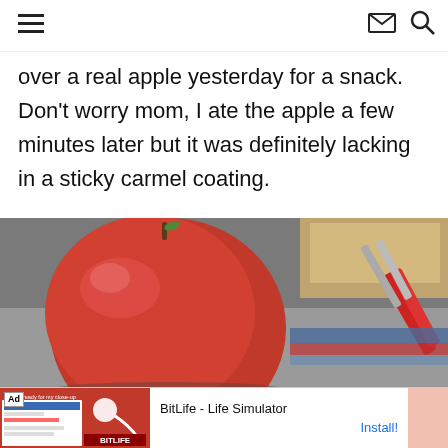[hamburger menu] [mail icon] [search icon]
over a real apple yesterday for a snack.  Don't worry mom, I ate the apple a few minutes later but it was definitely lacking in a sticky carmel coating.
[Figure (photo): Close-up photo of a red apple on a desk surface next to scissors/tools and some papers or books]
Ad  I'm ready for my close-up  BitLife - Life Simulator  Install!